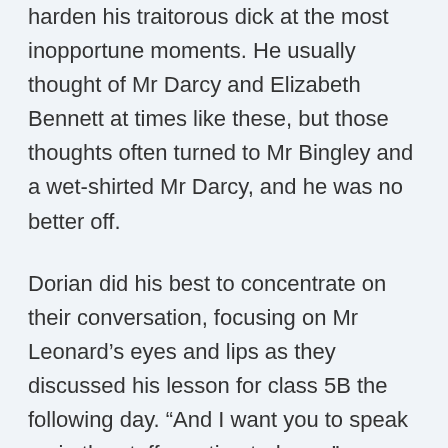harden his traitorous dick at the most inopportune moments. He usually thought of Mr Darcy and Elizabeth Bennett at times like these, but those thoughts often turned to Mr Bingley and a wet-shirted Mr Darcy, and he was no better off.
Dorian did his best to concentrate on their conversation, focusing on Mr Leonard's eyes and lips as they discussed his lesson for class 5B the following day. “And I want you to speak up in the staff meeting today….”
“Yes, Mr Leonard.”
“Look, Dorian, it’s about time you called me Mark. We’ve been working together